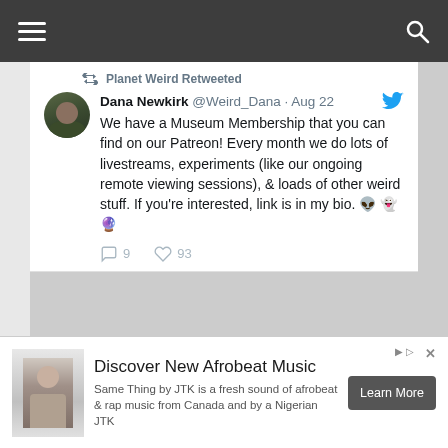[Figure (screenshot): Dark top navigation bar with hamburger menu icon on left and search icon on right]
Planet Weird Retweeted
Dana Newkirk @Weird_Dana · Aug 22
We have a Museum Membership that you can find on our Patreon! Every month we do lots of livestreams, experiments (like our ongoing remote viewing sessions), & loads of other weird stuff. If you're interested, link is in my bio. 👽 👻 🔮
9  93
Planet Weird Retweeted
Keelin @arowitch · Aug 22
Remote Viewing Moodboard
Discover New Afrobeat Music
Same Thing by JTK is a fresh sound of afrobeat & rap music from Canada and by a Nigerian JTK
Learn More